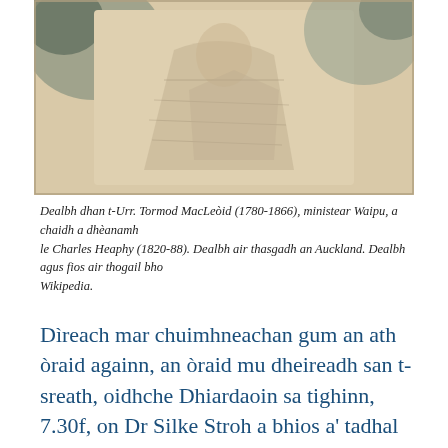[Figure (illustration): A sketched/watercolor portrait drawing of a man, partially visible, appearing to be historical artwork.]
Dealbh dhan t-Urr. Tormod MacLeòid (1780-1866), ministear Waipu, a chaidh a dhèanamh le Charles Heaphy (1820-88). Dealbh air thasgadh an Auckland. Dealbh agus fios air thogail bho Wikipedia.
Dìreach mar chuimhneachan gum an ath òraid againn, an òraid mu dheireadh san t-sreath, oidhche Dhiardaoin sa tighinn, 7.30f, on Dr Silke Stroh a bhios a' tadhal oirnn a bhruidhinn mun chuspair gu h-àrd. Tuilleadh fiosrachaidh air na faidhlichean gu h-ìosal. Tha sinn a' dèanamh fiughar mhòr ro òraid Silke agus gu